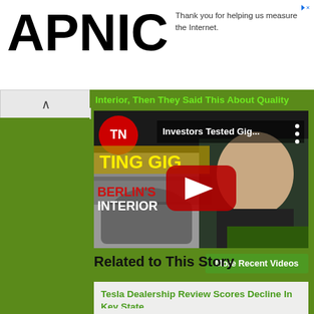[Figure (logo): APNIC logo in bold black large text]
Thank you for helping us measure the Internet.
Interior, Then They Said This About Quality
[Figure (screenshot): YouTube video thumbnail showing Investors Tested Gig... BERLIN'S INTERIOR with Elon Musk and Tesla Gigafactory Berlin imagery, with red YouTube play button overlay]
More Recent Videos
Related to This Story
Tesla Dealership Review Scores Decline In Key State
Why Cybertruck Prices and Specs Are